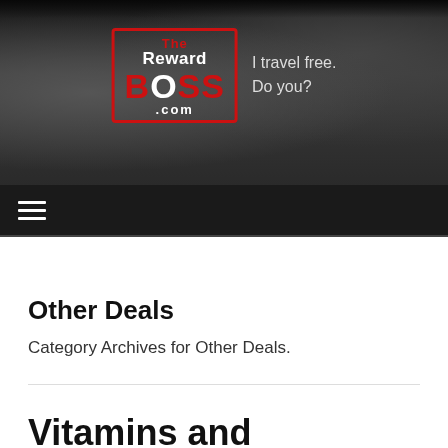[Figure (logo): The Reward Boss .com logo with tagline 'I travel free. Do you?' on dark grunge textured background]
≡ (hamburger navigation menu icon)
Other Deals
Category Archives for Other Deals.
Vitamins and Supplements 25%